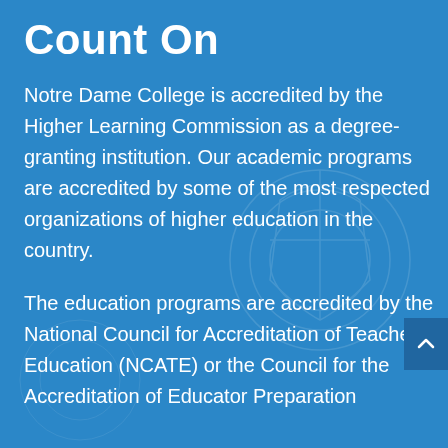Count On
Notre Dame College is accredited by the Higher Learning Commission as a degree-granting institution. Our academic programs are accredited by some of the most respected organizations of higher education in the country.
The education programs are accredited by the National Council for Accreditation of Teacher Education (NCATE) or the Council for the Accreditation of Educator Preparation